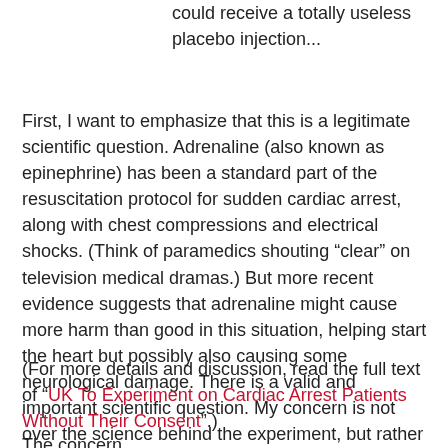could receive a totally useless placebo injection...
First, I want to emphasize that this is a legitimate scientific question. Adrenaline (also known as epinephrine) has been a standard part of the resuscitation protocol for sudden cardiac arrest, along with chest compressions and electrical shocks. (Think of paramedics shouting “clear” on television medical dramas.) But more recent evidence suggests that adrenaline might cause more harm than good in this situation, helping start the heart but possibly also causing some neurological damage. There is a valid and important scientific question. My concern is not over the science behind the experiment, but rather the ethics...
(For more details and discussion, read the full text of "UK To Experiment on Cardiac Arrest Patients Without Their Consent".)
The concern...